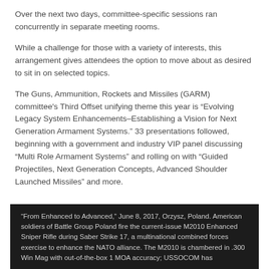Over the next two days, committee-specific sessions ran concurrently in separate meeting rooms.
While a challenge for those with a variety of interests, this arrangement gives attendees the option to move about as desired to sit in on selected topics.
The Guns, Ammunition, Rockets and Missiles (GARM) committee's Third Offset unifying theme this year is “Evolving Legacy System Enhancements–Establishing a Vision for Next Generation Armament Systems.” 33 presentations followed, beginning with a government and industry VIP panel discussing “Multi Role Armament Systems” and rolling on with “Guided Projectiles, Next Generation Concepts, Advanced Shoulder Launched Missiles” and more.
[Figure (photo): Dark background image caption area. Text reads: “From Enhanced to Advanced,” June 8, 2017, Orzysz, Poland. American soldiers of Battle Group Poland fire the current-issue M2010 Enhanced Sniper Rifle during Saber Strike 17, a multinational combined forces exercise to enhance the NATO alliance. The M2010 is chambered in .300 Win Mag with out-of-the-box 1 MOA accuracy; USSOCOM has...]